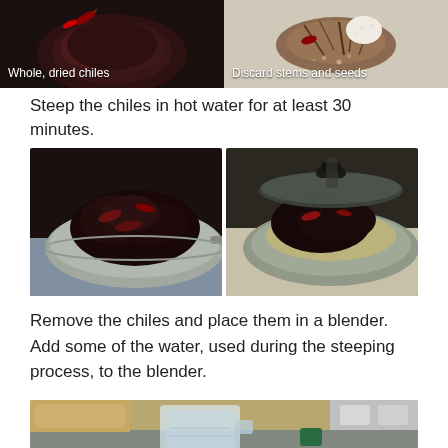[Figure (photo): Whole dried chiles piled together, dark reddish-brown color with small dried red chile on top. Caption: 'Whole, dried chiles']
[Figure (photo): Dried chiles with stems and seeds discarded, shown on white background. Caption: 'Discard stems and seeds']
Steep the chiles in hot water for at least 30 minutes.
[Figure (photo): Dark dried chiles in a stainless steel pan/skillet, ready to be steeped in hot water.]
[Figure (photo): Chiles steeping in hot water in a stainless steel pan with a lid, water being poured in.]
Remove the chiles and place them in a blender.  Add some of the water, used during the steeping process, to the blender.
[Figure (photo): Kitchen counter with a large glass measuring cup filled with water, used for the steeping process of chiles.]